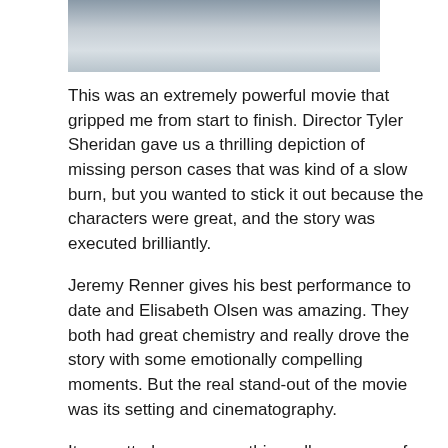[Figure (photo): Partial view of a scene from a movie, showing figures in a snowy outdoor setting]
This was an extremely powerful movie that gripped me from start to finish. Director Tyler Sheridan gave us a thrilling depiction of missing person cases that was kind of a slow burn, but you wanted to stick it out because the characters were great, and the story was executed brilliantly.
Jeremy Renner gives his best performance to date and Elisabeth Olsen was amazing. They both had great chemistry and really drove the story with some emotionally compelling moments. But the real stand-out of the movie was its setting and cinematography.
It was utterly gorgeous, this really was one of the most beautiful movies of the year. I feel like this film flew under everyone’s radar, as no one is really